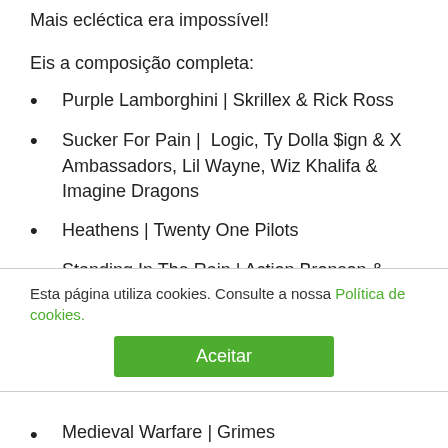Mais ecléctica era impossível!
Eis a composição completa:
Purple Lamborghini | Skrillex & Rick Ross
Sucker For Pain |  Logic, Ty Dolla $ign & X Ambassadors, Lil Wayne, Wiz Khalifa & Imagine Dragons
Heathens | Twenty One Pilots
Standing In The Rain | Action Bronson & Dan Auerbach feat. Mark Ronson
Gangsta | Kehlani
Know Better | Kevin Gates
Esta página utiliza cookies. Consulte a nossa Política de cookies.
Aceitar
Medieval Warfare | Grimes